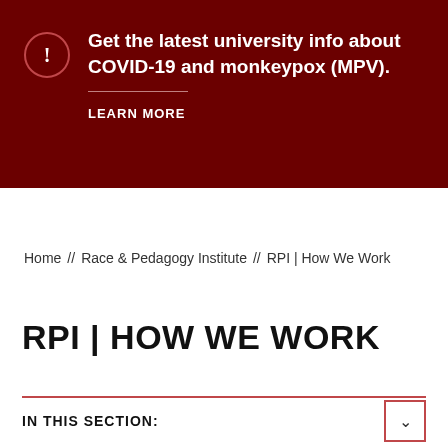Get the latest university info about COVID-19 and monkeypox (MPV). LEARN MORE
Home // Race & Pedagogy Institute // RPI | How We Work
RPI | HOW WE WORK
IN THIS SECTION: